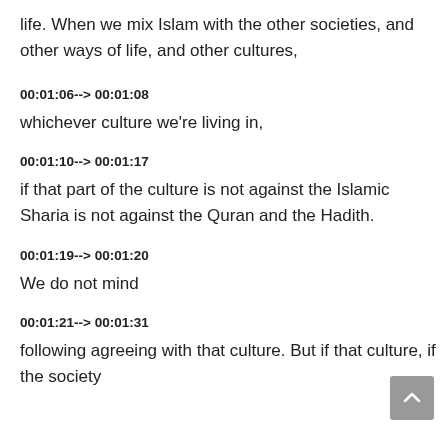life. When we mix Islam with the other societies, and other ways of life, and other cultures,
00:01:06--> 00:01:08
whichever culture we're living in,
00:01:10--> 00:01:17
if that part of the culture is not against the Islamic Sharia is not against the Quran and the Hadith.
00:01:19--> 00:01:20
We do not mind
00:01:21--> 00:01:31
following agreeing with that culture. But if that culture, if the society